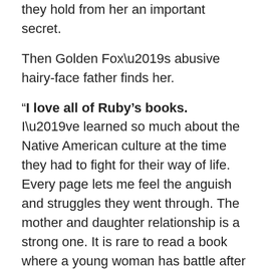they hold from her an important secret.
Then Golden Fox’s abusive hairy-face father finds her.
“I love all of Ruby’s books. I’ve learned so much about the Native American culture at the time they had to fight for their way of life. Every page lets me feel the anguish and struggles they went through. The mother and daughter relationship is a strong one. It is rare to read a book where a young woman has battle after battle to face but fights onward, never turns against her world or her family, as you find in so many of our books and movies today. Golden Fox embodies great wisdom and spiritual strength by keeping the traditions